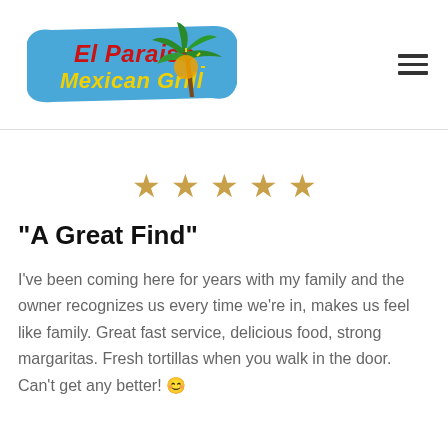[Figure (logo): El Paraiso Mexican Grill logo with palm tree and colorful text on a blue banner]
[Figure (other): Five gold/tan star rating icons displayed in a row]
“A Great Find”
I’ve been coming here for years with my family and the owner recognizes us every time we’re in, makes us feel like family. Great fast service, delicious food, strong margaritas. Fresh tortillas when you walk in the door. Can’t get any better! 😊